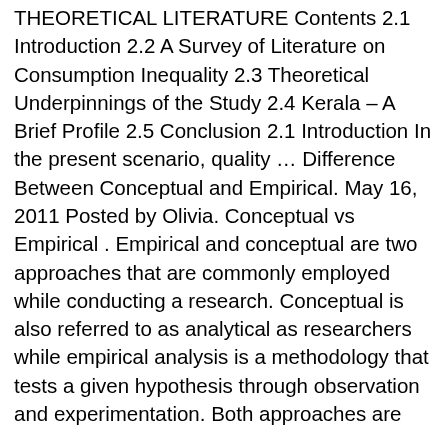THEORETICAL LITERATURE Contents 2.1 Introduction 2.2 A Survey of Literature on Consumption Inequality 2.3 Theoretical Underpinnings of the Study 2.4 Kerala – A Brief Profile 2.5 Conclusion 2.1 Introduction In the present scenario, quality … Difference Between Conceptual and Empirical. May 16, 2011 Posted by Olivia. Conceptual vs Empirical . Empirical and conceptual are two approaches that are commonly employed while conducting a research. Conceptual is also referred to as analytical as researchers while empirical analysis is a methodology that tests a given hypothesis through observation and experimentation. Both approaches are